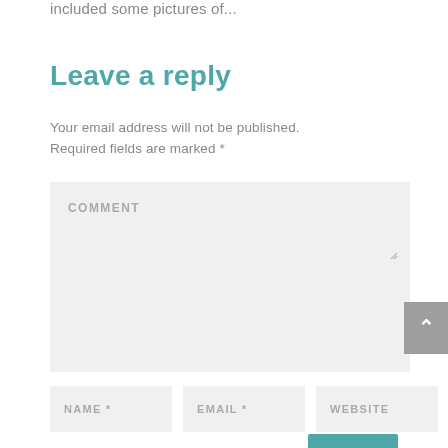included some pictures of...
Leave a reply
Your email address will not be published. Required fields are marked *
COMMENT
NAME *
EMAIL *
WEBSITE